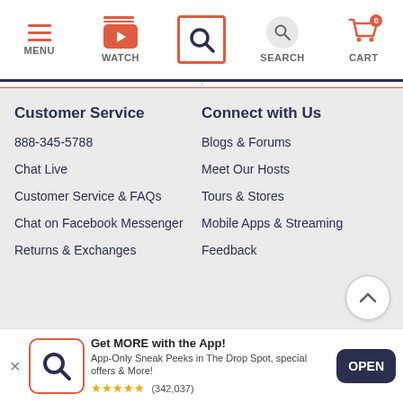[Figure (screenshot): Top navigation bar of a shopping website with icons and labels: MENU (hamburger), WATCH (video icon), a highlighted search/Qvc logo icon in orange border, SEARCH (magnifier), CART (shopping cart with 0 badge)]
Customer Service
888-345-5788
Chat Live
Customer Service & FAQs
Chat on Facebook Messenger
Returns & Exchanges
Connect with Us
Blogs & Forums
Meet Our Hosts
Tours & Stores
Mobile Apps & Streaming
Feedback
Get MORE with the App! App-Only Sneak Peeks in The Drop Spot, special offers & More! ★★★★★ (342,037)